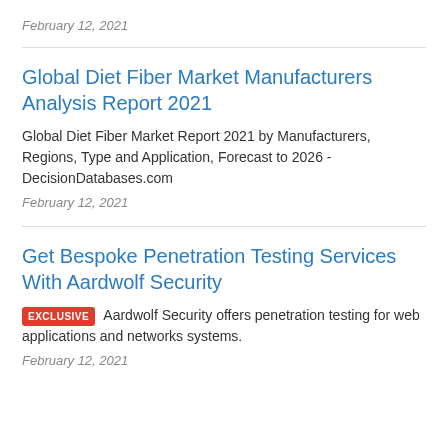February 12, 2021
Global Diet Fiber Market Manufacturers Analysis Report 2021
Global Diet Fiber Market Report 2021 by Manufacturers, Regions, Type and Application, Forecast to 2026 - DecisionDatabases.com
February 12, 2021
Get Bespoke Penetration Testing Services With Aardwolf Security
EXCLUSIVE  Aardwolf Security offers penetration testing for web applications and networks systems.
February 12, 2021